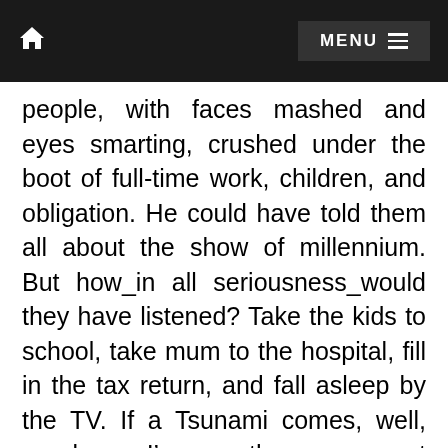MENU
people, with faces mashed and eyes smarting, crushed under the boot of full-time work, children, and obligation. He could have told them all about the show of millennium. But how⁠_⁠in all seriousness⁠_⁠would they have listened? Take the kids to school, take mum to the hospital, fill in the tax return, and fall asleep by the TV. If a Tsunami comes, well, you know, Im sure the government will tell us what to do⁠_⁠yeh, right. Jack could feel his heart ache. Soon they would all be floating corpses. And his parents. His parents had been angels. We choose our parents before were born. Our pre-born selves, our souls, are ushered into a cosmic viewing booth, outside of time and space, and different family scenes flick past. As soon as we choose, we attach onto the growing fetus. We choose based on intent, but we know nothing of the complex society of Earth, and